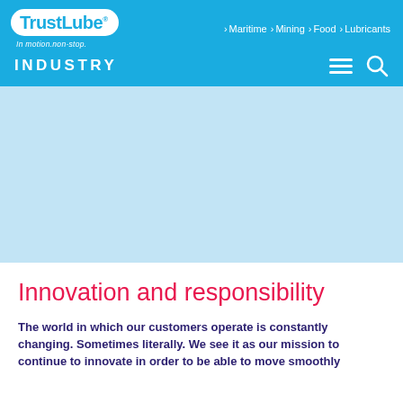TrustLube® | Maritime | Mining | Food | Lubricants | In motion.non-stop. | INDUSTRY
[Figure (illustration): Light blue hero banner area below the navigation header]
Innovation and responsibility
The world in which our customers operate is constantly changing. Sometimes literally. We see it as our mission to continue to innovate in order to be able to move smoothly